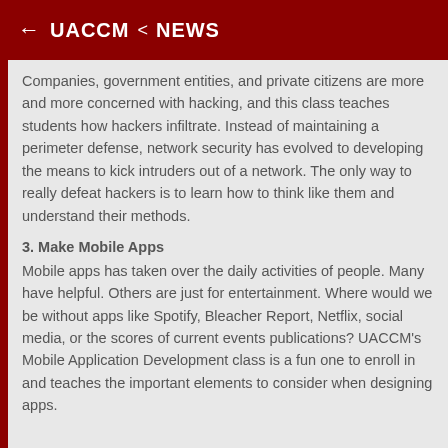← UACCM < NEWS
Companies, government entities, and private citizens are more and more concerned with hacking, and this class teaches students how hackers infiltrate. Instead of maintaining a perimeter defense, network security has evolved to developing the means to kick intruders out of a network. The only way to really defeat hackers is to learn how to think like them and understand their methods.
3. Make Mobile Apps
Mobile apps has taken over the daily activities of people. Many have helpful. Others are just for entertainment. Where would we be without apps like Spotify, Bleacher Report, Netflix, social media, or the scores of current events publications? UACCM's Mobile Application Development class is a fun one to enroll in and teaches the important elements to consider when designing apps.